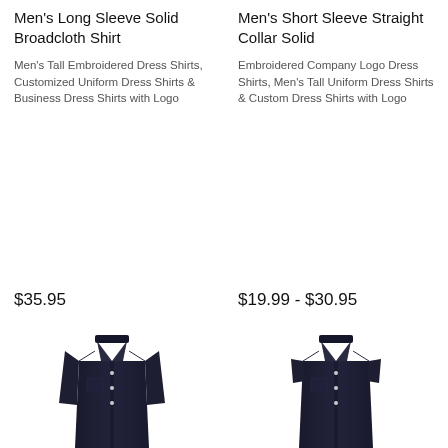Men's Long Sleeve Solid Broadcloth Shirt
Men's Tall Embroidered Dress Shirts, Customized Uniform Dress Shirts & Business Dress Shirts with Logo
$35.95
Men's Short Sleeve Straight Collar Solid
Embroidered Company Logo Dress Shirts, Men's Tall Uniform Dress Shirts & Custom Dress Shirts with Logo
$19.99 - $30.95
[Figure (photo): Dark navy/black long sleeve dress shirt]
[Figure (photo): Dark navy/black short sleeve dress shirt]